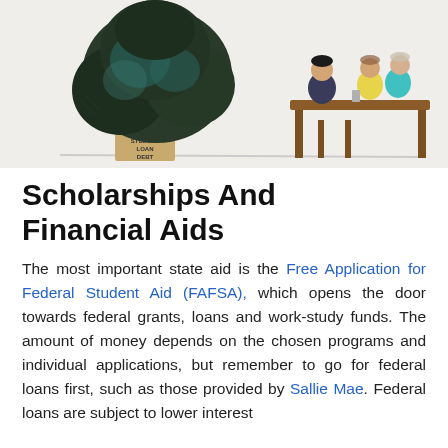[Figure (illustration): Cartoon/illustration showing a large tree labeled 'STUDENT LOAN DEBT' on the left, and two people sitting at a desk/table on the right, suggesting a financial counseling or loan meeting scene.]
Scholarships And Financial Aids
The most important state aid is the Free Application for Federal Student Aid (FAFSA), which opens the door towards federal grants, loans and work-study funds. The amount of money depends on the chosen programs and individual applications, but remember to go for federal loans first, such as those provided by Sallie Mae. Federal loans are subject to lower interest